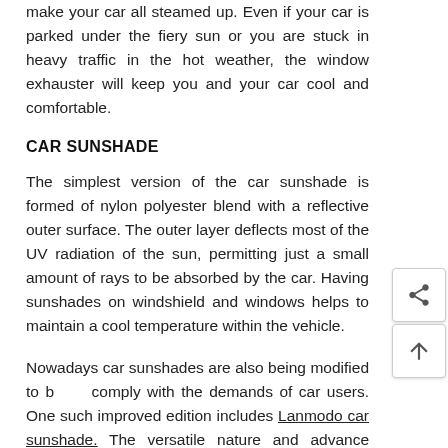make your car all steamed up. Even if your car is parked under the fiery sun or you are stuck in heavy traffic in the hot weather, the window exhauster will keep you and your car cool and comfortable.
CAR SUNSHADE
The simplest version of the car sunshade is formed of nylon polyester blend with a reflective outer surface. The outer layer deflects most of the UV radiation of the sun, permitting just a small amount of rays to be absorbed by the car. Having sunshades on windshield and windows helps to maintain a cool temperature within the vehicle.
Nowadays car sunshades are also being modified to better comply with the demands of car users. One such improved edition includes Lanmodo car sunshade. The versatile nature and advance features of the product contributes to it's increasing success. With the size of 4.8m x 2.3m, it